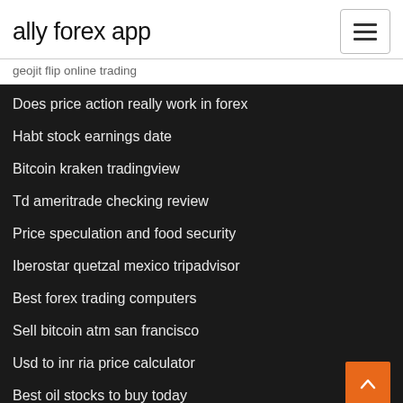ally forex app
geojit flip online trading
Does price action really work in forex
Habt stock earnings date
Bitcoin kraken tradingview
Td ameritrade checking review
Price speculation and food security
Iberostar quetzal mexico tripadvisor
Best forex trading computers
Sell bitcoin atm san francisco
Usd to inr ria price calculator
Best oil stocks to buy today